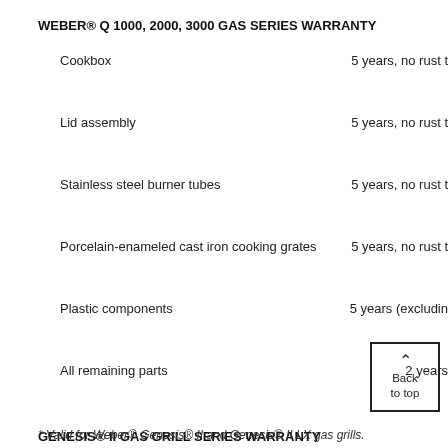WEBER® Q 1000, 2000, 3000 GAS SERIES WARRANTY
Cookbox    5 years, no rust t
Lid assembly    5 years, no rust t
Stainless steel burner tubes    5 years, no rust t
Porcelain-enameled cast iron cooking grates    5 years, no rust t
Plastic components    5 years (excludin
All remaining parts    2 years
GENESIS® II GAS GRILL SERIES WARRANTY
All Parts    10 Years (excluding normal wear and tear and
* Valid for Weber® Genesis® II and Genesis® II LX gas grills.